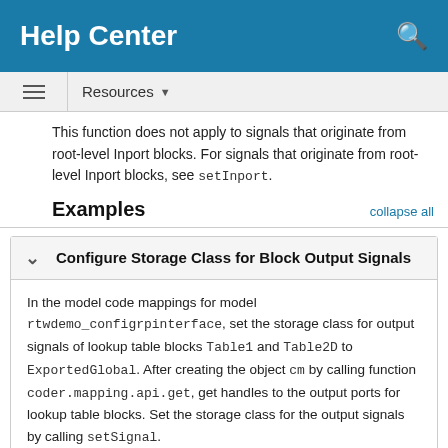Help Center
This function does not apply to signals that originate from root-level Inport blocks. For signals that originate from root-level Inport blocks, see setInport.
Examples
Configure Storage Class for Block Output Signals
In the model code mappings for model rtwdemo_configrpinterface, set the storage class for output signals of lookup table blocks Table1 and Table2D to ExportedGlobal. After creating the object cm by calling function coder.mapping.api.get, get handles to the output ports for lookup table blocks. Set the storage class for the output signals by calling setSignal.
open_system('rtwdemo_configrpinterface');
cm = coder.mapping.api.get('rtwdemo_config